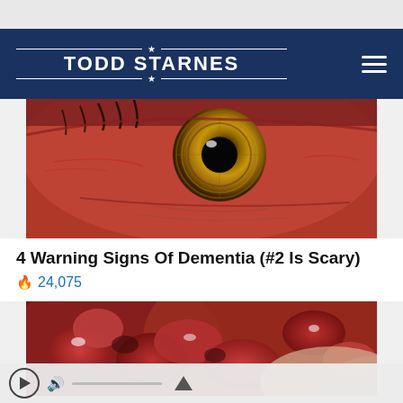[Figure (logo): Todd Starnes website logo on navy blue header navigation bar with hamburger menu icon]
[Figure (photo): Extreme close-up macro photo of a human eye showing the iris with golden-brown tones and red veins in the sclera]
4 Warning Signs Of Dementia (#2 Is Scary)
🔥 24,075
[Figure (photo): Close-up medical photo showing blood cells or tissue, reddish-brown tones with highlights, partial view cut off at bottom]